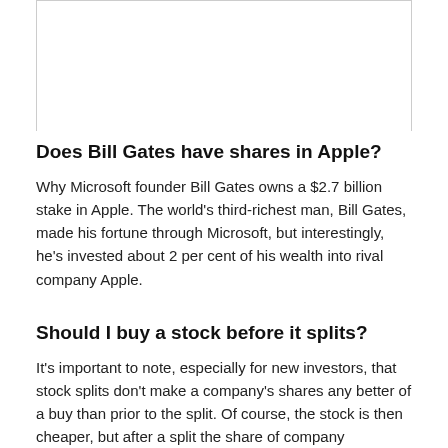Does Bill Gates have shares in Apple?
Why Microsoft founder Bill Gates owns a $2.7 billion stake in Apple. The world's third-richest man, Bill Gates, made his fortune through Microsoft, but interestingly, he's invested about 2 per cent of his wealth into rival company Apple.
Should I buy a stock before it splits?
It's important to note, especially for new investors, that stock splits don't make a company's shares any better of a buy than prior to the split. Of course, the stock is then cheaper, but after a split the share of company ownership is less than pre-split.